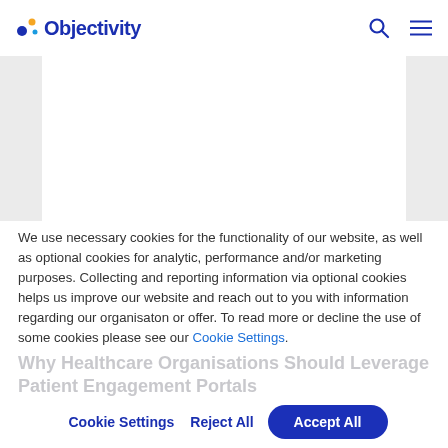[Figure (logo): Objectivity logo with colorful dots and dark blue wordmark]
[Figure (screenshot): Gray and white hero band area below the header navigation]
We use necessary cookies for the functionality of our website, as well as optional cookies for analytic, performance and/or marketing purposes. Collecting and reporting information via optional cookies helps us improve our website and reach out to you with information regarding our organisaton or offer. To read more or decline the use of some cookies please see our Cookie Settings.
Why Healthcare Organisations Should Leverage Patient Engagement Portals
Cookie Settings  Reject All  Accept All